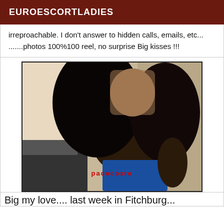EUROESCORTLADIES
irreproachable. I don't answer to hidden calls, emails, etc... .......photos 100%100 reel, no surprise Big kisses !!!
[Figure (photo): Photo of a woman with long curly black hair, face blurred, partially clothed, with a red watermark text over the image.]
Big my love.... last week in Fitchburg...